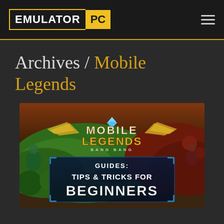EMULATOR PC
Archives / Mobile Legends
[Figure (screenshot): Mobile Legends Bang Bang game screenshot showing a map overview with jungle terrain, with overlay text reading 'GUIDES: TIPS & TRICKS FOR BEGINNERS']